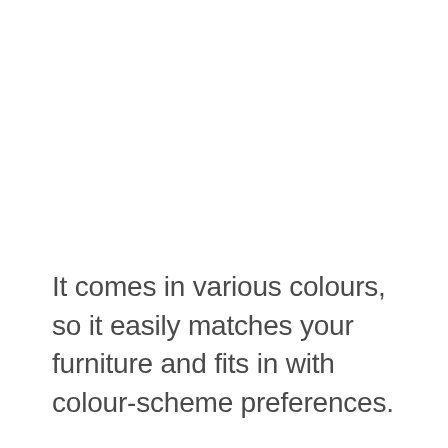It comes in various colours, so it easily matches your furniture and fits in with colour-scheme preferences.